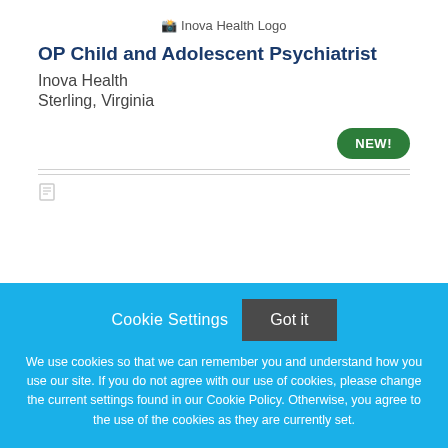[Figure (logo): Inova Health Logo]
OP Child and Adolescent Psychiatrist
Inova Health
Sterling, Virginia
NEW!
Cookie Settings  Got it
We use cookies so that we can remember you and understand how you use our site. If you do not agree with our use of cookies, please change the current settings found in our Cookie Policy. Otherwise, you agree to the use of the cookies as they are currently set.